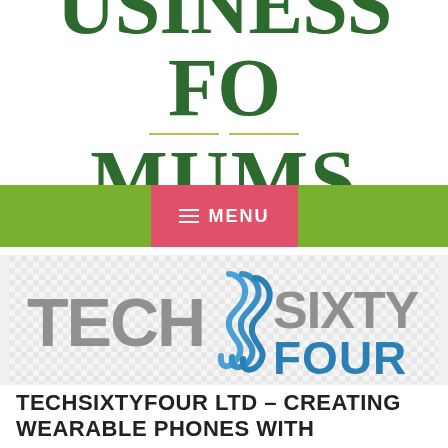[Figure (logo): Business For Mums website header logo with dark green serif text on white background, with gold horizontal divider lines between the two word lines]
[Figure (screenshot): Green navigation bar with pink/red MENU button containing hamburger icon]
[Figure (logo): TechSixtyFour logo on light grey checkered background — TECH in grey uppercase with blue flame/wave swoosh replacing S, SIXTY in large letters, FOUR in blue]
TECHSIXTYFOUR LTD – CREATING WEARABLE PHONES WITH TRACKERS